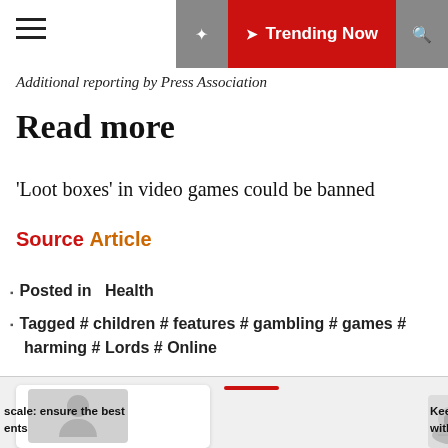☰  ❧ Trending Now 🔍
Additional reporting by Press Association
Read more
'Loot boxes' in video games could be banned
Source Article
Posted in  Health
Tagged # children # features # gambling # games # harming # Lords # Online
[Figure (photo): Avatar placeholder thumbnail card with red underline bar]
scale: ensure the best ents
Keep track of your fitness ro with a segmental body comp